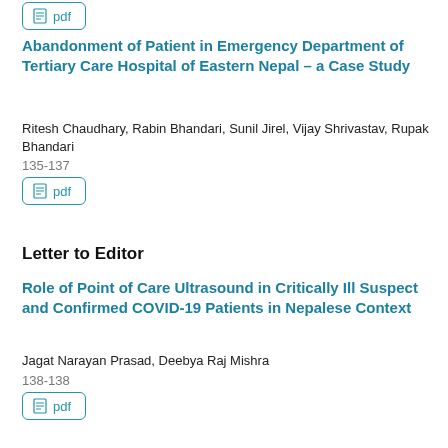[Figure (other): PDF download button (partially visible at top)]
Abandonment of Patient in Emergency Department of Tertiary Care Hospital of Eastern Nepal – a Case Study
Ritesh Chaudhary, Rabin Bhandari, Sunil Jirel, Vijay Shrivastav, Rupak Bhandari
135-137
[Figure (other): PDF download button]
Letter to Editor
Role of Point of Care Ultrasound in Critically Ill Suspect and Confirmed COVID-19 Patients in Nepalese Context
Jagat Narayan Prasad, Deebya Raj Mishra
138-138
[Figure (other): PDF download button]